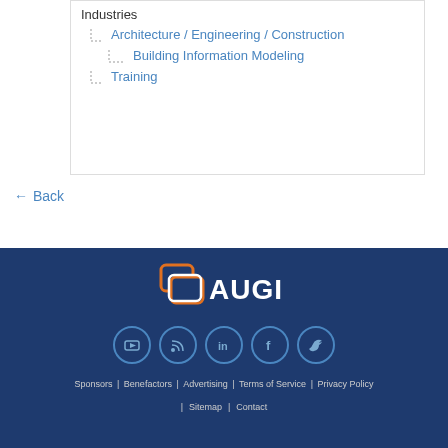Industries
Architecture / Engineering / Construction
Building Information Modeling
Training
← Back
[Figure (logo): AUGI logo with orange chat bubble icon and white text AUGI on dark blue background]
[Figure (infographic): Social media icons: YouTube, RSS, LinkedIn, Facebook, Twitter - circular outlined icons on dark blue background]
Sponsors | Benefactors | Advertising | Terms of Service | Privacy Policy | Sitemap | Contact